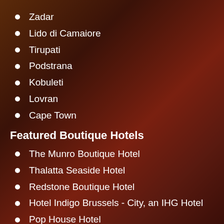Zadar
Lido di Camaiore
Tirupati
Podstrana
Kobuleti
Lovran
Cape Town
Featured Boutique Hotels
The Munro Boutique Hotel
Thalatta Seaside Hotel
Redstone Boutique Hotel
Hotel Indigo Brussels - City, an IHG Hotel
Pop House Hotel
Residence St. Andrew's Palace